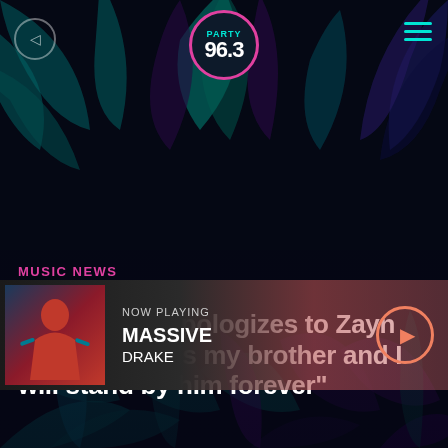[Figure (screenshot): Dark background with tropical palm leaves in teal, purple, and blue tones]
PARTY 96.3
[Figure (other): Now Playing bar: album art for Massive by Drake with play button]
NOW PLAYING
MASSIVE
DRAKE
MUSIC NEWS
BY PARTY963 | JUNE 2, 2022
Liam Payne apologizes to Zayn Malik: “Zayn is my brother and I will stand by him forever”